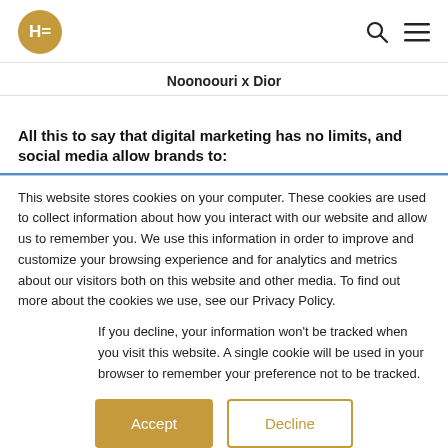HE logo, search icon, menu icon
Noonoouri x Dior
All this to say that digital marketing has no limits, and social media allow brands to:
This website stores cookies on your computer. These cookies are used to collect information about how you interact with our website and allow us to remember you. We use this information in order to improve and customize your browsing experience and for analytics and metrics about our visitors both on this website and other media. To find out more about the cookies we use, see our Privacy Policy.
If you decline, your information won't be tracked when you visit this website. A single cookie will be used in your browser to remember your preference not to be tracked.
Accept | Decline